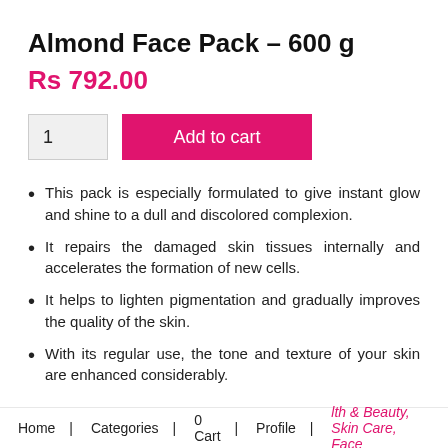Almond Face Pack – 600 g
Rs 792.00
1  Add to cart
This pack is especially formulated to give instant glow and shine to a dull and discolored complexion.
It repairs the damaged skin tissues internally and accelerates the formation of new cells.
It helps to lighten pigmentation and gradually improves the quality of the skin.
With its regular use, the tone and texture of your skin are enhanced considerably.
Home  Categories  0 Cart  Profile  lth & Beauty, Skin Care, Face